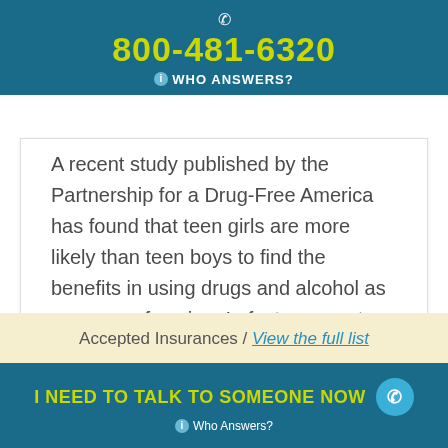800-481-6320 WHO ANSWERS?
A recent study published by the Partnership for a Drug-Free America has found that teen girls are more likely than teen boys to find the benefits in using drugs and alcohol as a means of coping. In fact, a recent study found that more than 2/3 of teen girls have reported using drugs or drinking....
Continue reading ›
Accepted Insurances / View the full list
I NEED TO TALK TO SOMEONE NOW Who Answers?